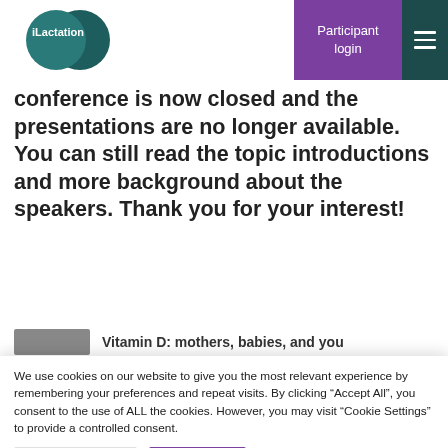[Figure (logo): iLactation logo — two overlapping teal/dark teal circles with white text 'iLactation']
Participant login
conference is now closed and the presentations are no longer available. You can still read the topic introductions and more background about the speakers. Thank you for your interest!
Vitamin D: mothers, babies, and you
We use cookies on our website to give you the most relevant experience by remembering your preferences and repeat visits. By clicking “Accept All”, you consent to the use of ALL the cookies. However, you may visit “Cookie Settings” to provide a controlled consent.
Cookie Settings
Accept All